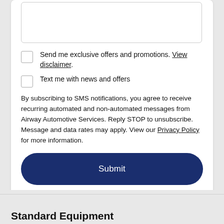[textarea input field]
Send me exclusive offers and promotions. View disclaimer.
Text me with news and offers
By subscribing to SMS notifications, you agree to receive recurring automated and non-automated messages from Airway Automotive Services. Reply STOP to unsubscribe. Message and data rates may apply. View our Privacy Policy for more information.
Submit
Standard Equipment